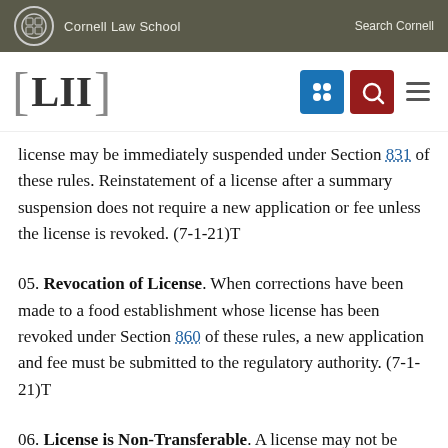Cornell Law School  Search Cornell
[Figure (logo): LII (Legal Information Institute) Cornell Law School navigation bar with menu icons]
license may be immediately suspended under Section 831 of these rules. Reinstatement of a license after a summary suspension does not require a new application or fee unless the license is revoked. (7-1-21)T
05. Revocation of License. When corrections have been made to a food establishment whose license has been revoked under Section 860 of these rules, a new application and fee must be submitted to the regulatory authority. (7-1-21)T
06. License is Non-Transferable. A license may not be transferred when ownership